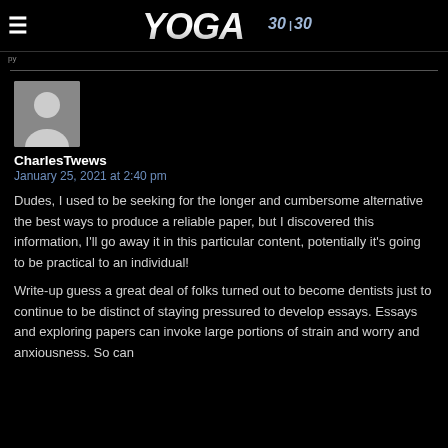YOGA 30|30
CharlesTwews
January 25, 2021 at 2:40 pm
Dudes, I used to be seeking for the longer and cumbersome alternative the best ways to produce a reliable paper, but I discovered this information, I'll go away it in this particular content, potentially it's going to be practical to an individual!
Write-up guess a great deal of folks turned out to become dentists just to continue to be distinct of staying pressured to develop essays. Essays and exploring papers can invoke large portions of strain and worry and anxiousness. So can